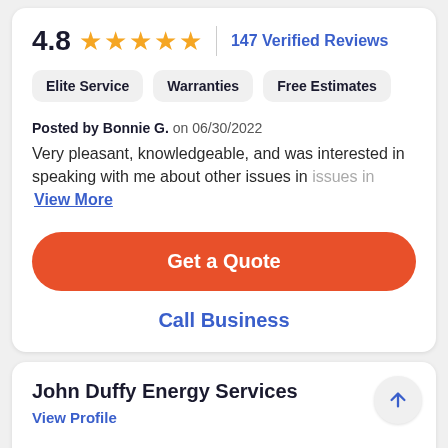4.8 ★★★★★ | 147 Verified Reviews
Elite Service
Warranties
Free Estimates
Posted by Bonnie G. on 06/30/2022
Very pleasant, knowledgeable, and was interested in speaking with me about other issues in View More
Get a Quote
Call Business
John Duffy Energy Services
View Profile